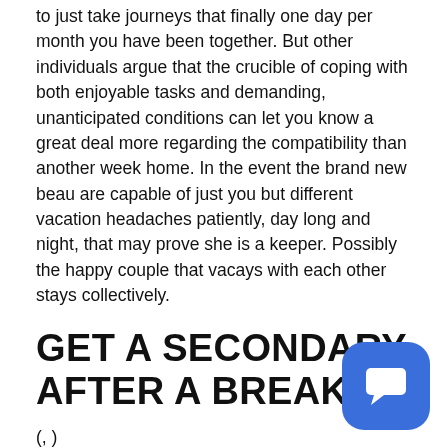to just take journeys that finally one day per month you have been together. But other individuals argue that the crucible of coping with both enjoyable tasks and demanding, unanticipated conditions can let you know a great deal more regarding the compatibility than another week home. In the event the brand new beau are capable of just you but different vacation headaches patiently, day long and night, that may prove she is a keeper. Possibly the happy couple that vacays with each other stays collectively.
GET A SECONDARY AFTER A BREAKUP
(, )
Where do you turn whenever you in the pipeline a lovers getaway and abruptly split before departure time? Even when the couple's part is not any a lot more, the g component does not have getting lost. Traveling a breakup can eliminate you against the common pla patterns that become crushing reminders of the individ